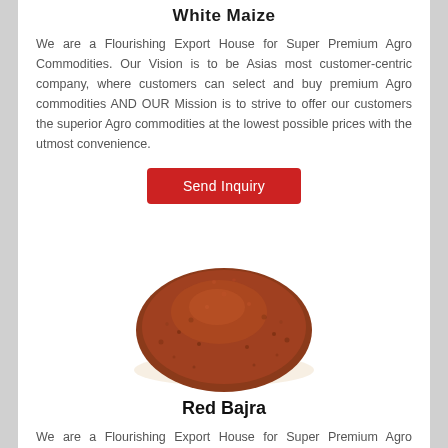White Maize
We are a Flourishing Export House for Super Premium Agro Commodities. Our Vision is to be Asias most customer-centric company, where customers can select and buy premium Agro commodities AND OUR Mission is to strive to offer our customers the superior Agro commodities at the lowest possible prices with the utmost convenience.
Send Inquiry
[Figure (photo): A pile of reddish-brown granular Red Bajra (millet) grains photographed from above against a white background.]
Red Bajra
We are a Flourishing Export House for Super Premium Agro Commodities. Our Vision is to be Asias most customer-centric company, where customers can select and buy premium Agro commodities AND OUR Mission